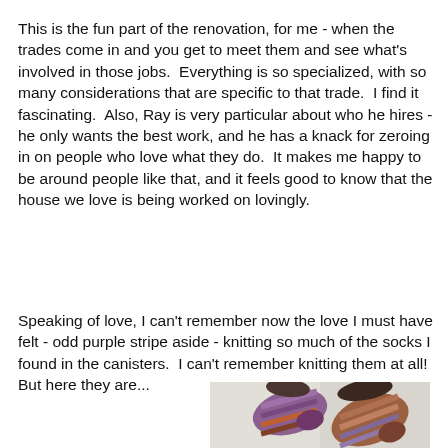This is the fun part of the renovation, for me - when the trades come in and you get to meet them and see what's involved in those jobs.  Everything is so specialized, with so many considerations that are specific to that trade.  I find it fascinating.  Also, Ray is very particular about who he hires - he only wants the best work, and he has a knack for zeroing in on people who love what they do.  It makes me happy to be around people like that, and it feels good to know that the house we love is being worked on lovingly.
Speaking of love, I can't remember now the love I must have felt - odd purple stripe aside - knitting so much of the socks I found in the canisters.  I can't remember knitting them at all!  But here they are...
[Figure (photo): Photo of two knitted socks with colorful stripes including purple, red, orange and dark colors, laid on a white fabric surface.]